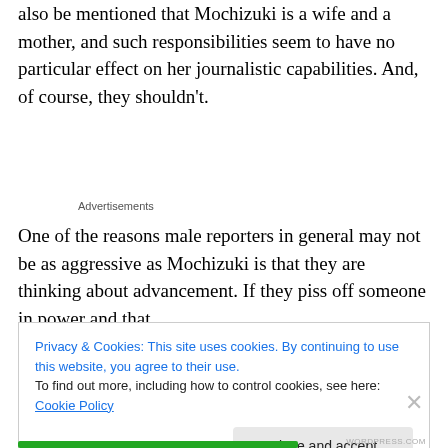also be mentioned that Mochizuki is a wife and a mother, and such responsibilities seem to have no particular effect on her journalistic capabilities. And, of course, they shouldn't.
Advertisements
One of the reasons male reporters in general may not be as aggressive as Mochizuki is that they are thinking about advancement. If they piss off someone in power and that
Privacy & Cookies: This site uses cookies. By continuing to use this website, you agree to their use.
To find out more, including how to control cookies, see here: Cookie Policy
Close and accept